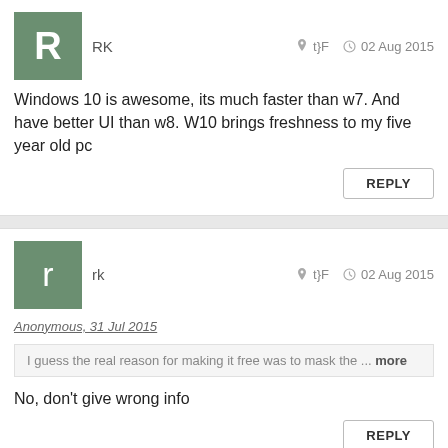RK   t}F   02 Aug 2015
Windows 10 is awesome, its much faster than w7. And have better UI than w8. W10 brings freshness to my five year old pc
REPLY
rk   t}F   02 Aug 2015
Anonymous, 31 Jul 2015
I guess the real reason for making it free was to mask the ... more
No, don't give wrong info
REPLY